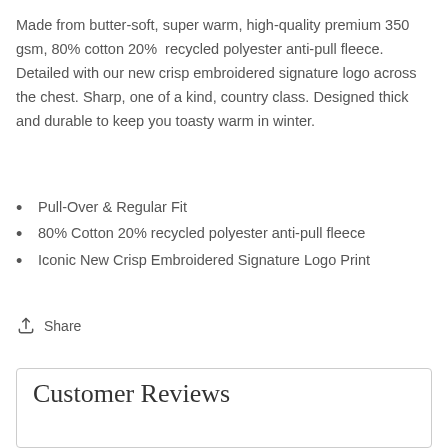Made from butter-soft, super warm, high-quality premium 350 gsm, 80% cotton 20%  recycled polyester anti-pull fleece.  Detailed with our new crisp embroidered signature logo across the chest. Sharp, one of a kind, country class. Designed thick and durable to keep you toasty warm in winter.
Pull-Over & Regular Fit
80% Cotton 20% recycled polyester anti-pull fleece
Iconic New Crisp Embroidered Signature Logo Print
Share
Customer Reviews